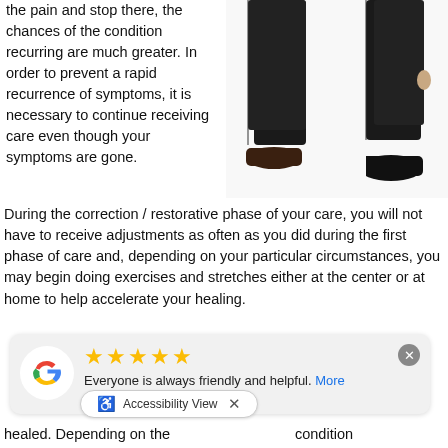the pain and stop there, the chances of the condition recurring are much greater. In order to prevent a rapid recurrence of symptoms, it is necessary to continue receiving care even though your symptoms are gone.
[Figure (photo): Two men in dark suits standing, showing legs and shoes from about waist down, one person leaning slightly]
During the correction / restorative phase of your care, you will not have to receive adjustments as often as you did during the first phase of care and, depending on your particular circumstances, you may begin doing exercises and stretches either at the center or at home to help accelerate your healing.
[Figure (screenshot): Google review card with 5 stars, text 'Everyone is always friendly and helpful. More', reviewer name 'melissa cham...' and accessibility view bar at bottom]
healed. Depending on the                                condition